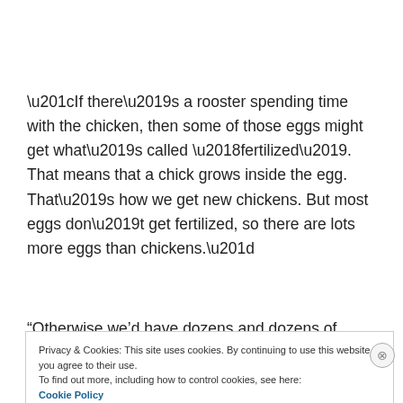“If there’s a rooster spending time with the chicken, then some of those eggs might get what’s called ‘fertilized’. That means that a chick grows inside the egg. That’s how we get new chickens. But most eggs don’t get fertilized, so there are lots more eggs than chickens.”
“Otherwise we’d have dozens and dozens of chickens
Privacy & Cookies: This site uses cookies. By continuing to use this website, you agree to their use.
To find out more, including how to control cookies, see here: Cookie Policy
Close and accept